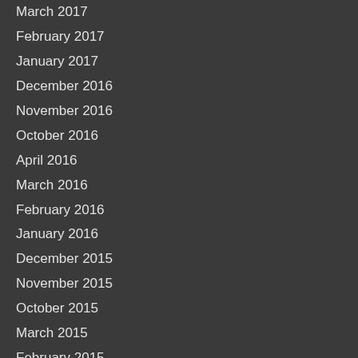March 2017
February 2017
January 2017
December 2016
November 2016
October 2016
April 2016
March 2016
February 2016
January 2016
December 2015
November 2015
October 2015
March 2015
February 2015
January 2015
December 2014
Categories
All